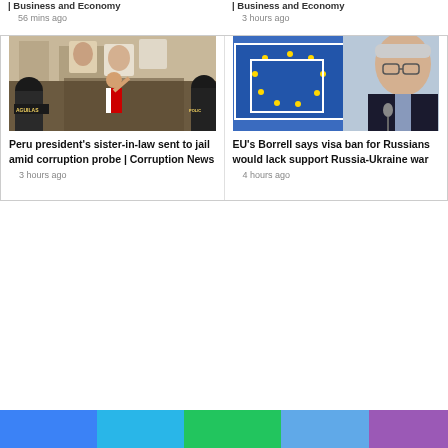| Business and Economy
56 mins ago
| Business and Economy
3 hours ago
[Figure (photo): Protest scene in Peru with people holding signs and police in riot gear with AGUILAS vest visible]
Peru president's sister-in-law sent to jail amid corruption probe | Corruption News
3 hours ago
[Figure (photo): EU official Josep Borrell speaking at a podium with EU flag stars visible in background]
EU's Borrell says visa ban for Russians would lack support Russia-Ukraine war
4 hours ago